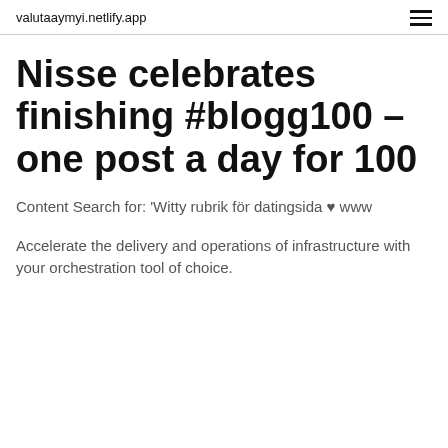valutaaymyi.netlify.app
Nisse celebrates finishing #blogg100 – one post a day for 100
Content Search for: 'Witty rubrik för datingsida ♥ www
Accelerate the delivery and operations of infrastructure with your orchestration tool of choice.